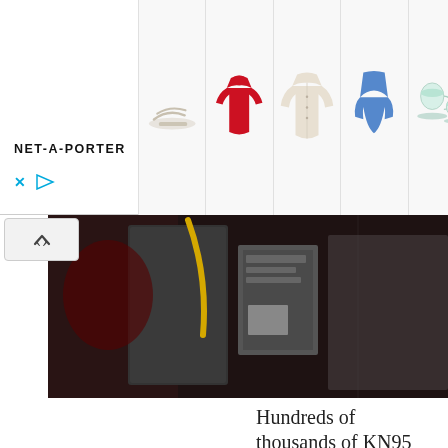[Figure (screenshot): NET-A-PORTER advertisement banner with logo on left and product images: sandal, red blouse, beige cardigan, blue swimsuit, and tea cups]
[Figure (photo): Dark photograph of packages and bags including yellow-handled bag and wrapped items]
Hundreds of thousands of KN95 masks distributed across New York state in recent weeks are “in question for their